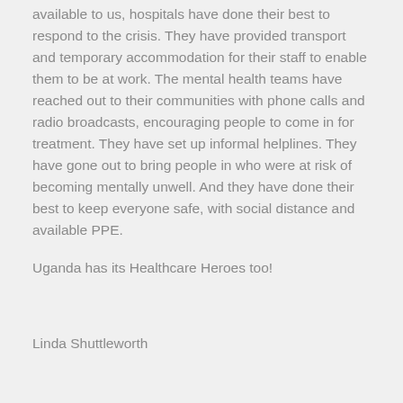available to us, hospitals have done their best to respond to the crisis. They have provided transport and temporary accommodation for their staff to enable them to be at work. The mental health teams have reached out to their communities with phone calls and radio broadcasts, encouraging people to come in for treatment. They have set up informal helplines. They have gone out to bring people in who were at risk of becoming mentally unwell. And they have done their best to keep everyone safe, with social distance and available PPE.
Uganda has its Healthcare Heroes too!
Linda Shuttleworth